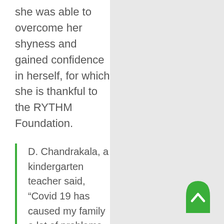she was able to overcome her shyness and gained confidence in herself, for which she is thankful to the RYTHM Foundation.
D. Chandrakala, a kindergarten teacher said, “Covid 19 has caused my family a lot of problems. This aid from the Foundation is
[Figure (other): Green scroll-to-top button with upward chevron arrow icon, arch/dome shaped, positioned in bottom right corner]